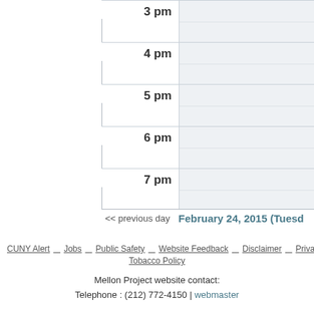| Time | Events |
| --- | --- |
| 3 pm |  |
| 4 pm |  |
| 5 pm |  |
| 6 pm |  |
| 7 pm |  |
<< previous day    February 24, 2015 (Tuesd...
CUNY Alert   Jobs   Public Safety   Website Feedback   Disclaimer   Privacy Policy   CUNY   Tobacco Policy
Mellon Project website contact:
Telephone : (212) 772-4150 | webmaster